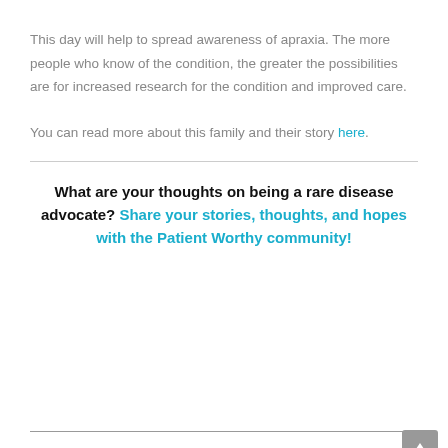This day will help to spread awareness of apraxia. The more people who know of the condition, the greater the possibilities are for increased research for the condition and improved care.
You can read more about this family and their story here.
What are your thoughts on being a rare disease advocate? Share your stories, thoughts, and hopes with the Patient Worthy community!